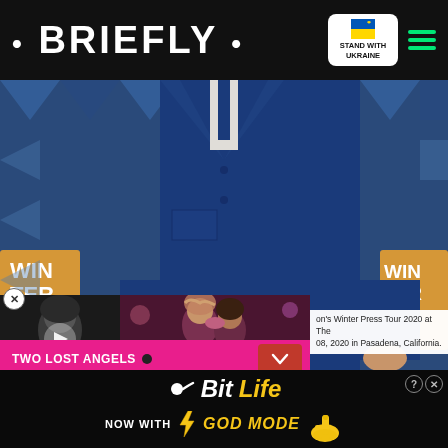• BRIEFLY • | STAND WITH UKRAINE
[Figure (photo): Person wearing a navy blue suit at Winter TCA 2020 event, standing in front of blue geometric backdrop with 'WIN TER TCA' signage.]
[Figure (photo): Video overlay with black and white image of a woman singing on the left and a color image of two people kissing on the right. TWO LOST ANGELS banner in pink.]
on's Winter Press Tour 2020 at The 08, 2020 in Pasadena, California.
[Figure (infographic): BitLife advertisement banner: 'NOW WITH GOD MODE' text with lightning bolt and hand/finger graphic on dark background.]